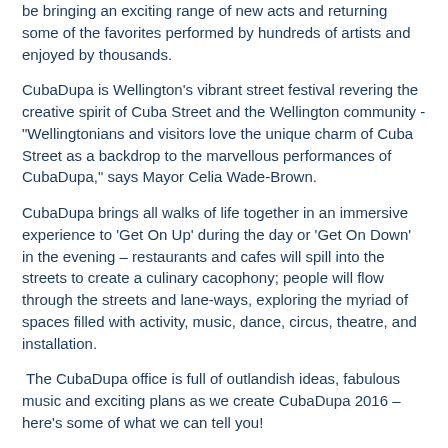be bringing an exciting range of new acts and returning some of the favorites performed by hundreds of artists and enjoyed by thousands.
CubaDupa is Wellington's vibrant street festival revering the creative spirit of Cuba Street and the Wellington community - "Wellingtonians and visitors love the unique charm of Cuba Street as a backdrop to the marvellous performances of CubaDupa," says Mayor Celia Wade-Brown.
CubaDupa brings all walks of life together in an immersive experience to 'Get On Up' during the day or 'Get On Down' in the evening – restaurants and cafes will spill into the streets to create a culinary cacophony; people will flow through the streets and lane-ways, exploring the myriad of spaces filled with activity, music, dance, circus, theatre, and installation.
The CubaDupa office is full of outlandish ideas, fabulous music and exciting plans as we create CubaDupa 2016 – here's some of what we can tell you!
We're adding a